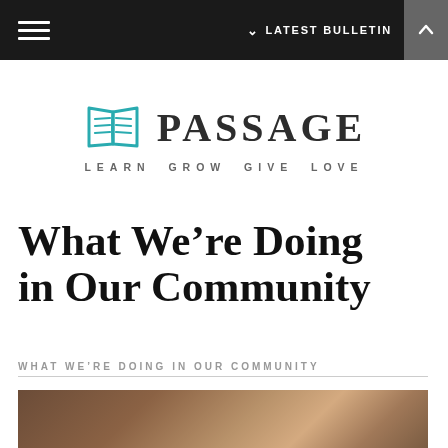≡   ∨ LATEST BULLETIN
[Figure (logo): Passage church logo — open book icon in teal beside the word PASSAGE in serif uppercase, with tagline LEARN GROW GIVE LOVE below]
What We're Doing in Our Community
WHAT WE'RE DOING IN OUR COMMUNITY
[Figure (photo): Partial photo of an interior scene, partially visible at bottom of page]